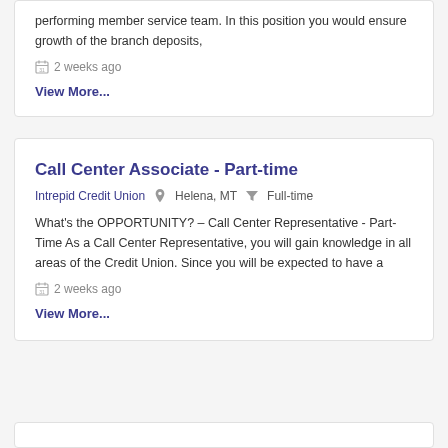performing member service team. In this position you would ensure growth of the branch deposits,
2 weeks ago
View More...
Call Center Associate - Part-time
Intrepid Credit Union   Helena, MT   Full-time
What's the OPPORTUNITY? – Call Center Representative - Part-Time As a Call Center Representative, you will gain knowledge in all areas of the Credit Union. Since you will be expected to have a
2 weeks ago
View More...